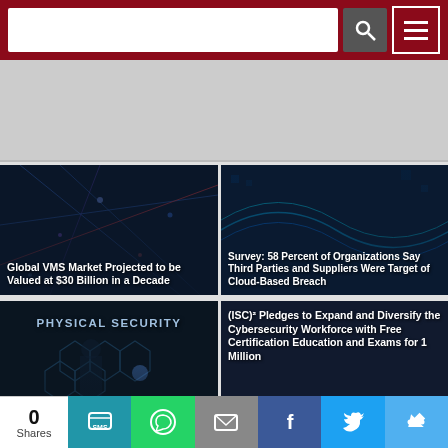[Search bar and navigation menu]
[Figure (other): Gray advertisement/banner placeholder area]
[Figure (photo): Dark blue digital network visualization background for VMS Market article]
Global VMS Market Projected to be Valued at $30 Billion in a Decade
[Figure (photo): Dark blue digital background for Survey article]
Survey: 58 Percent of Organizations Say Third Parties and Suppliers Were Target of Cloud-Based Breach
[Figure (photo): Dark physical security themed image with man touching digital panel]
Study: U.S. Corporations Facing Increasing Volume of Threats
[Figure (other): Dark background card for ISC2 article]
(ISC)² Pledges to Expand and Diversify the Cybersecurity Workforce with Free Certification Education and Exams for 1 Million
0 Shares — Social share buttons: SMS, WhatsApp, Email, Facebook, Twitter, More